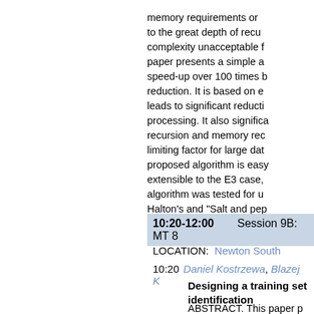memory requirements or to the great depth of recursion, complexity unacceptable f... paper presents a simple a... speed-up over 100 times b... reduction. It is based on e... leads to significant reducti... processing. It also significa... recursion and memory rec... limiting factor for large dat... proposed algorithm is eas... extensible to the E3 case, algorithm was tested for u... Halton's and "Salt and pep...
10:20-12:00    Session 9B: MT 8
LOCATION:   Newton South
10:20  Daniel Kostrzewa, Blazej K
Designing a training set identification
ABSTRACT. This paper p... the most challenging bra... retrieval... musical instrum...